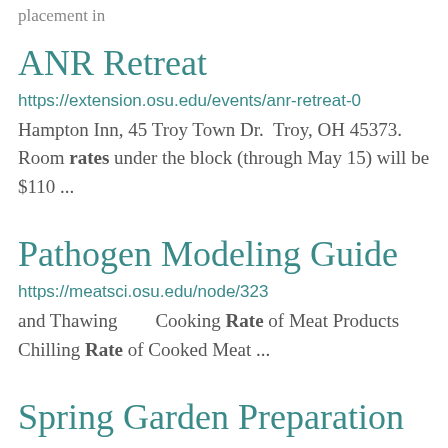placement in
ANR Retreat
https://extension.osu.edu/events/anr-retreat-0
Hampton Inn, 45 Troy Town Dr.  Troy, OH 45373. Room rates under the block (through May 15) will be $110 ...
Pathogen Modeling Guide
https://meatsci.osu.edu/node/323
and Thawing        Cooking Rate of Meat Products        Chilling Rate of Cooked Meat ...
Spring Garden Preparation is